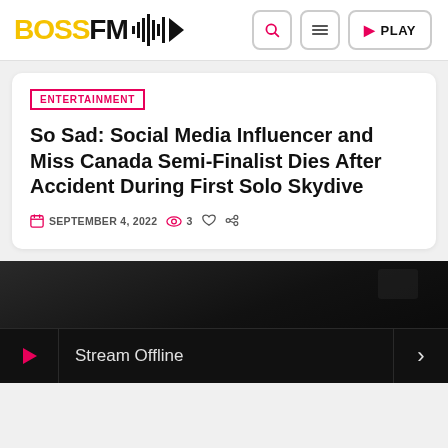BOSSFM [logo with waveform/play icon] | [search] [menu] [PLAY]
ENTERTAINMENT
So Sad: Social Media Influencer and Miss Canada Semi-Finalist Dies After Accident During First Solo Skydive
SEPTEMBER 4, 2022  3
[Figure (screenshot): Dark background section showing a dimly visible outdoor/night scene]
Stream Offline